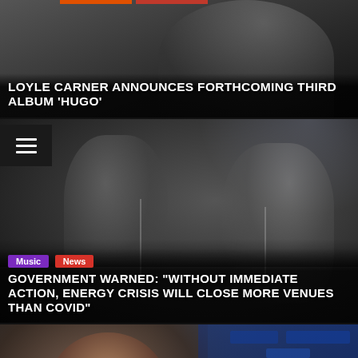[Figure (photo): Close-up of a man (Loyle Carner) wearing a white T-shirt, dark background]
LOYLE CARNER ANNOUNCES FORTHCOMING THIRD ALBUM 'HUGO'
[Figure (photo): Two guitarists performing on stage with dramatic lighting and smoke effects]
Music  News
GOVERNMENT WARNED: "WITHOUT IMMEDIATE ACTION, ENERGY CRISIS WILL CLOSE MORE VENUES THAN COVID"
[Figure (photo): Man with goatee at an airport (Emilio Rivera), airport signage visible in background including Delta and Exit signs]
News
'SONS OF ANARCHY' STAR EMILIO RIVERA LIKES TEXAS BUSING MIGRANTS TO OTHER STATES